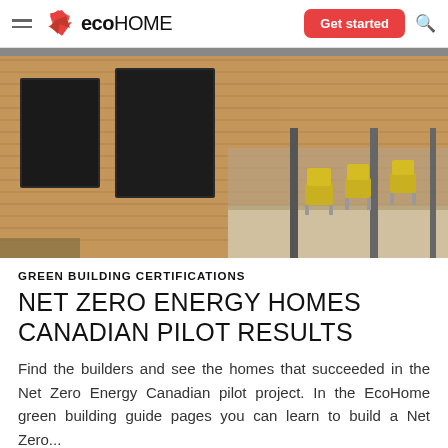eco HOME — Get started
[Figure (photo): Exterior of a modern building with horizontal wood cladding, large windows, and yellow chairs on a covered patio walkway.]
GREEN BUILDING CERTIFICATIONS
NET ZERO ENERGY HOMES CANADIAN PILOT RESULTS
Find the builders and see the homes that succeeded in the Net Zero Energy Canadian pilot project. In the EcoHome green building guide pages you can learn to build a Net Zero...